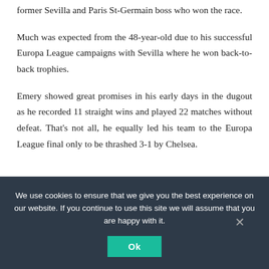former Sevilla and Paris St-Germain boss who won the race.
Much was expected from the 48-year-old due to his successful Europa League campaigns with Sevilla where he won back-to-back trophies.
Emery showed great promises in his early days in the dugout as he recorded 11 straight wins and played 22 matches without defeat. That's not all, he equally led his team to the Europa League final only to be thrashed 3-1 by Chelsea.
We use cookies to ensure that we give you the best experience on our website. If you continue to use this site we will assume that you are happy with it.